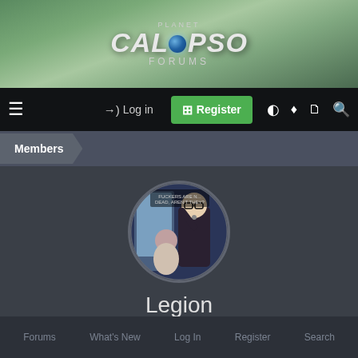[Figure (logo): Planet Calypso Forums logo with globe icon on green banner background]
≡  Log in  Register
Members
[Figure (photo): Circular avatar image showing cartoon characters]
Legion
Marauder · 47 · From Sweden
Joined: Aug 24, 2005
Last seen: Jan 4, 2015
Forums  What's New  Log In  Register  Search